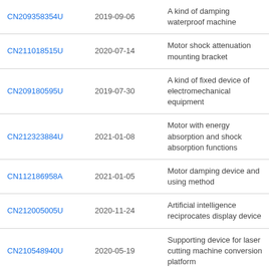| Patent | Date | Title |
| --- | --- | --- |
| CN209358354U | 2019-09-06 | A kind of damping waterproof machine |
| CN211018515U | 2020-07-14 | Motor shock attenuation mounting bracket |
| CN209180595U | 2019-07-30 | A kind of fixed device of electromechanical equipment |
| CN212323884U | 2021-01-08 | Motor with energy absorption and shock absorption functions |
| CN112186958A | 2021-01-05 | Motor damping device and using method |
| CN212005005U | 2020-11-24 | Artificial intelligence reciprocates display device |
| CN210548940U | 2020-05-19 | Supporting device for laser cutting machine conversion platform |
| CN210350935U | 2020-04-17 | Synchronous motor with supporting vibration |